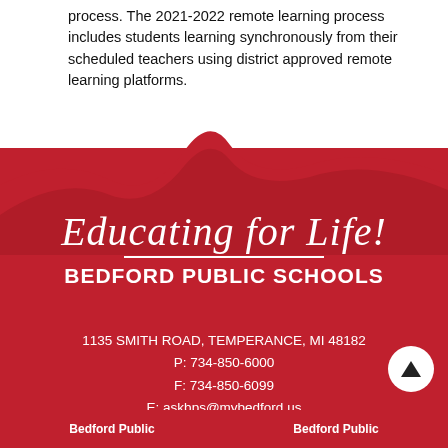process. The 2021-2022 remote learning process includes students learning synchronously from their scheduled teachers using district approved remote learning platforms.
[Figure (illustration): Red wave/banner shape forming the background of the Bedford Public Schools footer logo section]
Educating for Life!
BEDFORD PUBLIC SCHOOLS
1135 SMITH ROAD, TEMPERANCE, MI 48182
P: 734-850-6000
F: 734-850-6099
E: askbps@mybedford.us
Bedford Public    Bedford Public